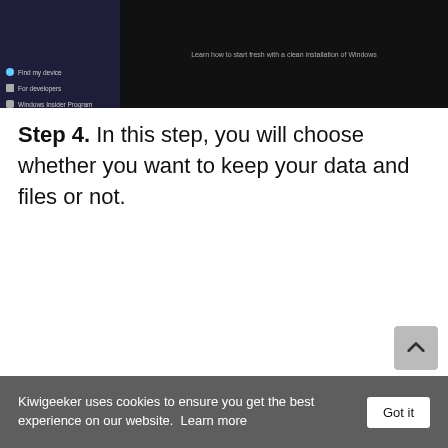[Figure (screenshot): A Windows Settings or similar dark-themed application screenshot showing a sidebar with menu items including 'Find my device', 'For developers', and 'Windows Insider Program', and a main dark pane with small text about Windows evaluation.]
Step 4. In this step, you will choose whether you want to keep your data and files or not.
Kiwigeeker uses cookies to ensure you get the best experience on our website.  Learn more   Got it